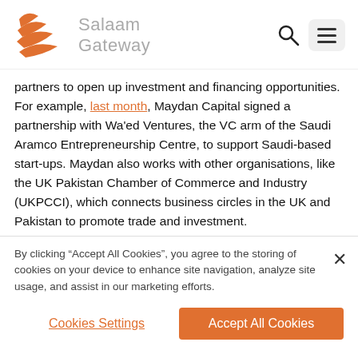[Figure (logo): Salaam Gateway orange wave/bird logo with grey text 'Salaam Gateway']
partners to open up investment and financing opportunities. For example, last month, Maydan Capital signed a partnership with Wa'ed Ventures, the VC arm of the Saudi Aramco Entrepreneurship Centre, to support Saudi-based start-ups. Maydan also works with other organisations, like the UK Pakistan Chamber of Commerce and Industry (UKPCCI), which connects business circles in the UK and Pakistan to promote trade and investment.
By clicking “Accept All Cookies”, you agree to the storing of cookies on your device to enhance site navigation, analyze site usage, and assist in our marketing efforts.
Cookies Settings
Accept All Cookies